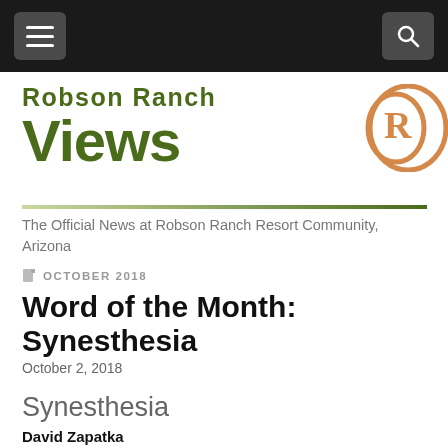Robson Ranch Views — navigation bar
[Figure (logo): Robson Ranch Views logo with green bold text and an orange RR letter emblem on the right]
The Official News at Robson Ranch Resort Community, Arizona
OCTOBER 2018
Word of the Month: Synesthesia
October 2, 2018
Synesthesia
David Zapatka